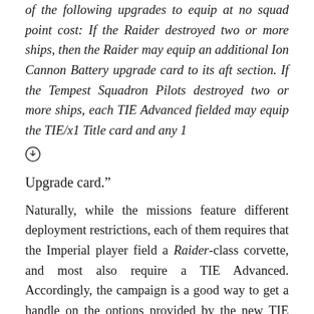of the following upgrades to equip at no squad point cost: If the Raider destroyed two or more ships, then the Raider may equip an additional Ion Cannon Battery upgrade card to its aft section. If the Tempest Squadron Pilots destroyed two or more ships, each TIE Advanced fielded may equip the TIE/x1 Title card and any 1
[Figure (illustration): Small circular icon with an arrow/upgrade symbol inside]
Upgrade card.”
Naturally, while the missions feature different deployment restrictions, each of them requires that the Imperial player field a Raider-class corvette, and most also require a TIE Advanced. Accordingly, the campaign is a good way to get a handle on the options provided by the new TIE Advanced pilots, its new upgrades, and the Raider, and one of the most important decisions you’ll make as the Imperial player